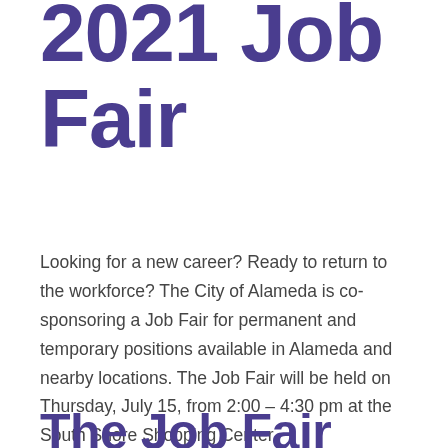2021 Job Fair
Looking for a new career? Ready to return to the workforce? The City of Alameda is co-sponsoring a Job Fair for permanent and temporary positions available in Alameda and nearby locations. The Job Fair will be held on Thursday, July 15, from 2:00 – 4:30 pm at the South Shore Shopping Center.
The Job Fair has